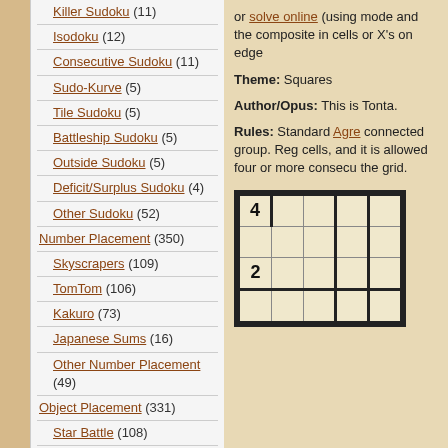Killer Sudoku (11)
Isodoku (12)
Consecutive Sudoku (11)
Sudo-Kurve (5)
Tile Sudoku (5)
Battleship Sudoku (5)
Outside Sudoku (5)
Deficit/Surplus Sudoku (4)
Other Sudoku (52)
Number Placement (350)
Skyscrapers (109)
TomTom (106)
Kakuro (73)
Japanese Sums (16)
Other Number Placement (49)
Object Placement (331)
Star Battle (108)
Battleships (87)
Statue Park (66)
Minesweeper (53)
Other Object Placement (33)
Shading (498)
Tapa (160)
LITS (84)
Nurikabe (78)
Cross the Streams (66)
or solve online (using mode and the composite in cells or X's on edge
Theme: Squares
Author/Opus: This is Tonta.
Rules: Standard Agre connected group. Reg cells, and it is allowed four or more consecu the grid.
[Figure (other): Partial puzzle grid with numbers 4 and 2 visible, thick borders indicating regions]